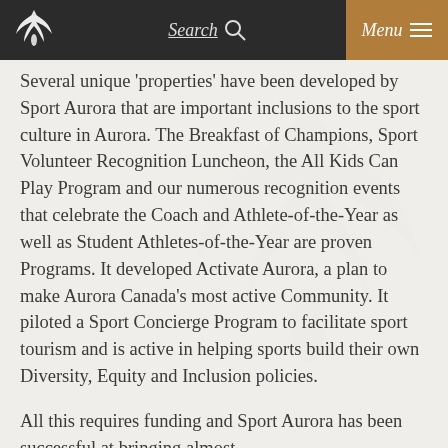Search  Menu
Several unique 'properties' have been developed by Sport Aurora that are important inclusions to the sport culture in Aurora. The Breakfast of Champions, Sport Volunteer Recognition Luncheon, the All Kids Can Play Program and our numerous recognition events that celebrate the Coach and Athlete-of-the-Year as well as Student Athletes-of-the-Year are proven Programs. It developed Activate Aurora, a plan to make Aurora Canada's most active Community. It piloted a Sport Concierge Program to facilitate sport tourism and is active in helping sports build their own Diversity, Equity and Inclusion policies.
All this requires funding and Sport Aurora has been successful at bringing almost